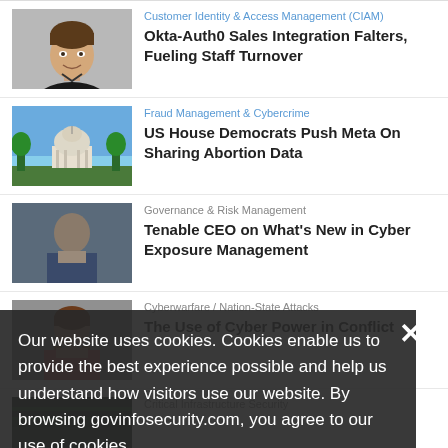[Figure (photo): Headshot of a young man in a black shirt, smiling, gray background]
Customer Identity & Access Management (CIAM)
Okta-Auth0 Sales Integration Falters, Fueling Staff Turnover
[Figure (photo): Photo of the US Capitol building under blue sky]
Fraud Management & Cybercrime
US House Democrats Push Meta On Sharing Abortion Data
[Figure (photo): Headshot of a man, partially obscured by cookie overlay]
Governance & Risk Management
Tenable CEO on What's New in Cyber Exposure Management
[Figure (photo): Headshot of a woman, partially obscured by cookie overlay]
Cyberwarfare / Nation-State Attacks
The Use of Cyber Power in Conflict
[Figure (photo): Dark thumbnail, partially visible at bottom]
Critical Infrastructure Security
Our website uses cookies. Cookies enable us to provide the best experience possible and help us understand how visitors use our website. By browsing govinfosecurity.com, you agree to our use of cookies.